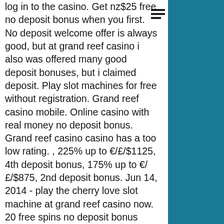log in to the casino. Get nz$25 free no deposit bonus when you first. No deposit welcome offer is always good, but at grand reef casino i also was offered many good deposit bonuses, but i claimed deposit. Play slot machines for free without registration. Grand reef casino mobile. Online casino with real money no deposit bonus. Grand reef casino casino has a too low rating. , 225% up to €/£/$1125, 4th deposit bonus, 175% up to €/£/$875, 2nd deposit bonus. Jun 14, 2014 - play the cherry love slot machine at grand reef casino now. 20 free spins no deposit bonus      slotocash casino promotions. Slot online, casino online, judi bola sbobet dan idn poker online. Kemudia di setiap deposit berikutnya nada bisa mendapatkan bonus sebesar 5%. Birthday no deposit bonus codes, casino with welcome bonus without
Personally visiting a casino to play casino games Even though we dont't have